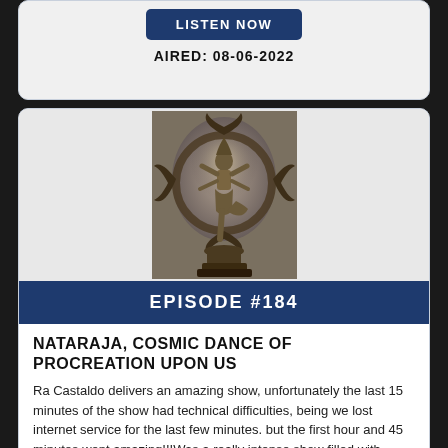LISTEN NOW
AIRED: 08-06-2022
[Figure (photo): Bronze statue of Nataraja (Shiva as the cosmic dancer) in a ring of flames, viewed from the front against a grey background]
EPISODE #184
NATARAJA, COSMIC DANCE OF PROCREATION UPON US
Ra Castaldo delivers an amazing show, unfortunately the last 15 minutes of the show had technical difficulties, being we lost internet service for the last few minutes. but the first hour and 45 minutes went amazing!!!Was a really intense show filled with information you cant find anywhere else! Ra Castaldo discusses the various bloodlines who...
LISTEN NOW